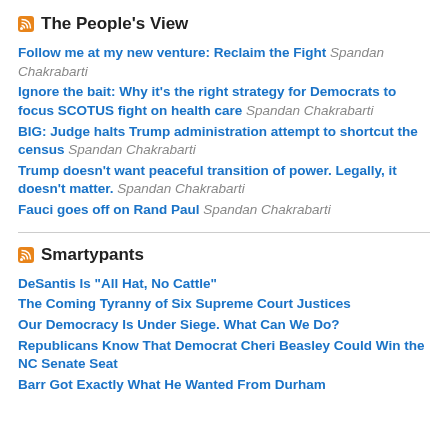The People's View
Follow me at my new venture: Reclaim the Fight Spandan Chakrabarti
Ignore the bait: Why it's the right strategy for Democrats to focus SCOTUS fight on health care Spandan Chakrabarti
BIG: Judge halts Trump administration attempt to shortcut the census Spandan Chakrabarti
Trump doesn't want peaceful transition of power. Legally, it doesn't matter. Spandan Chakrabarti
Fauci goes off on Rand Paul Spandan Chakrabarti
Smartypants
DeSantis Is "All Hat, No Cattle"
The Coming Tyranny of Six Supreme Court Justices
Our Democracy Is Under Siege. What Can We Do?
Republicans Know That Democrat Cheri Beasley Could Win the NC Senate Seat
Barr Got Exactly What He Wanted From Durham